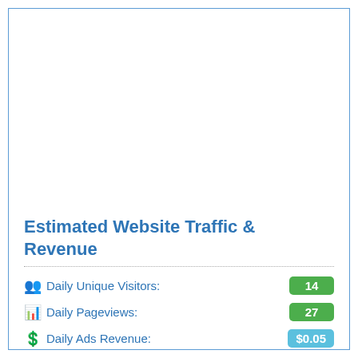Estimated Website Traffic & Revenue
Daily Unique Visitors: 14
Daily Pageviews: 27
Daily Ads Revenue: $0.05